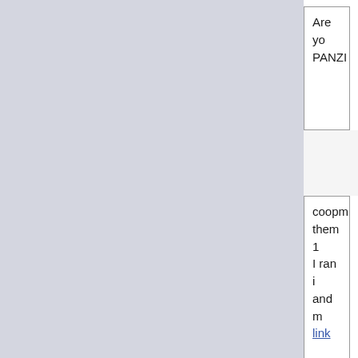Are yo PANZI
coopm them 1 I ran i and m link
If you look a It is si develo not pro You w backe better